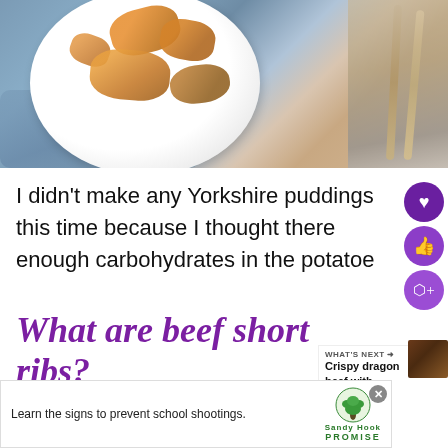[Figure (photo): A white plate with roasted vegetables (carrots, potatoes) on a blue fabric, with cutlery on the right side, on a grey stone surface]
I didn't make any Yorkshire puddings this time because I thought there enough carbohydrates in the potatoe
What are beef short ribs?
[Figure (infographic): WHAT'S NEXT arrow label with thumbnail of Crispy dragon beef with... and wave icon]
[Figure (screenshot): Advertisement banner: Learn the signs to prevent school shootings. Sandy Hook Promise logo with tree icon]